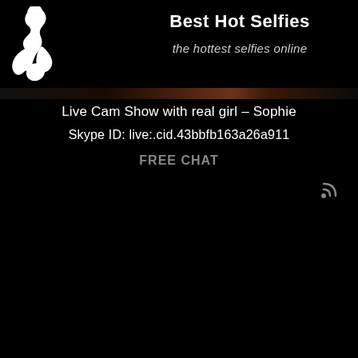[Figure (illustration): White silhouette of a kneeling female figure on black background, top-left corner logo area]
Best Hot Selfies
the hottest selfies online
[Figure (other): Horizontal divider bar with dark brownish gradient]
Live Cam Show with real girl – Sophie
Skype ID: live:.cid.43bbfb163a26a911
FREE CHAT
[Figure (other): RSS feed icon in grey, bottom-right area]